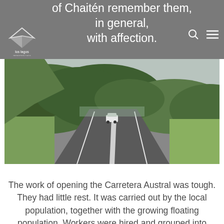of Chaitén remember them, in general, with affection.
[Figure (photo): A paved road (Carretera Austral) stretching into the distance with a white car driving away, flanked by green forested hills on the left and grassy verges on the right, under an overcast sky.]
The work of opening the Carretera Austral was tough. They had little rest. It was carried out by the local population, together with the growing floating population. Workers were hired and grouped into camps that could reach one thousand people, and some of these camps turned into villages. In the commune, the route